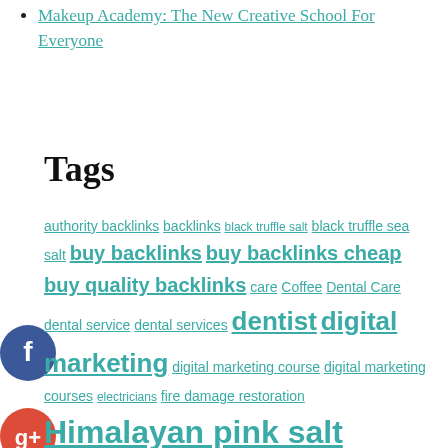Makeup Academy: The New Creative School For Everyone
Tags
authority backlinks backlinks black truffle salt black truffle sea salt buy backlinks buy backlinks cheap buy quality backlinks care Coffee Dental Care dental service dental services dentist digital marketing digital marketing course digital marketing courses electricians fire damage restoration Himalayan pink salt Himalayan salt internet marketing agency la party rentals Leave calculator marketing automation course marketing courses movers packers online online